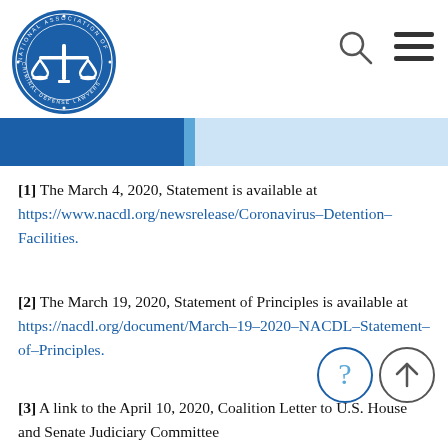NACDL - National Association of Criminal Defense Lawyers header with logo, search icon, and menu icon
[1] The March 4, 2020, Statement is available at https://www.nacdl.org/newsrelease/Coronavirus-Detention-Facilities.
[2] The March 19, 2020, Statement of Principles is available at https://nacdl.org/document/March-19-2020-NACDL-Statement-of-Principles.
[3] A link to the April 10, 2020, Coalition Letter to U.S. House and Senate Judiciary Committee